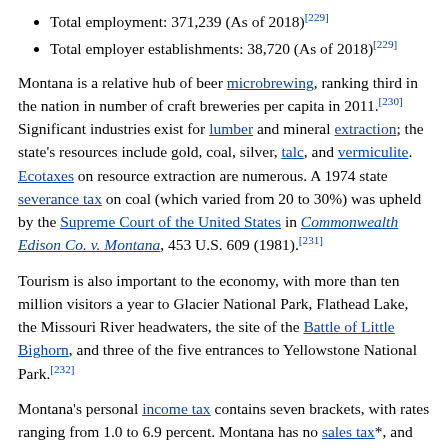Total employment: 371,239 (As of 2018)[229]
Total employer establishments: 38,720 (As of 2018)[229]
Montana is a relative hub of beer microbrewing, ranking third in the nation in number of craft breweries per capita in 2011.[230] Significant industries exist for lumber and mineral extraction; the state's resources include gold, coal, silver, talc, and vermiculite. Ecotaxes on resource extraction are numerous. A 1974 state severance tax on coal (which varied from 20 to 30%) was upheld by the Supreme Court of the United States in Commonwealth Edison Co. v. Montana, 453 U.S. 609 (1981).[231]
Tourism is also important to the economy, with more than ten million visitors a year to Glacier National Park, Flathead Lake, the Missouri River headwaters, the site of the Battle of Little Bighorn, and three of the five entrances to Yellowstone National Park.[232]
Montana's personal income tax contains seven brackets, with rates ranging from 1.0 to 6.9 percent. Montana has no sales tax*, and household goods are exempt from property taxes. However, property taxes are assessed on livestock, farm machinery, heavy equipment, automobiles, trucks, and business equipment. The amount of property tax owed is not determined solely by the property's value. The property's value is multiplied by a tax rate,